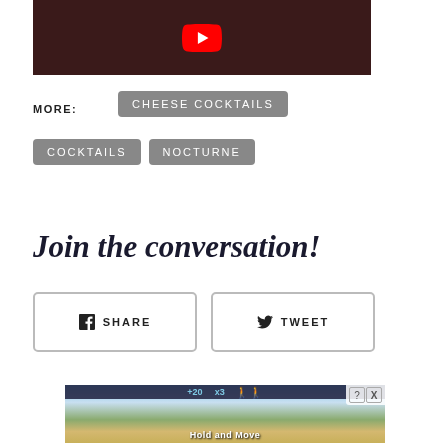[Figure (screenshot): YouTube video thumbnail showing a dark scene with a red YouTube play button icon visible at top center, and a partial face/person in the background with pink/red lighting.]
MORE:
CHEESE COCKTAILS
COCKTAILS
NOCTURNE
Join the conversation!
f  SHARE
t  TWEET
[Figure (screenshot): Advertisement banner showing an outdoor scene with trees and sky, a dark overlay at top with score display showing +20 and x3, figure icons, and text 'Hold and Move' at the bottom. Has close (X) and help (?) buttons in top right corner.]